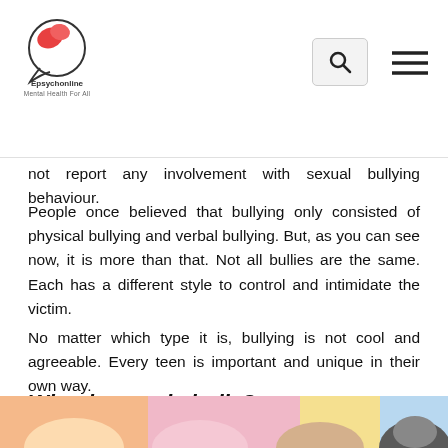Epsychonline | Mental Health For All
not report any involvement with sexual bullying behaviour.
People once believed that bullying only consisted of physical bullying and verbal bullying. But, as you can see now, it is more than that. Not all bullies are the same. Each has a different style to control and intimidate the victim.
No matter which type it is, bullying is not cool and agreeable. Every teen is important and unique in their own way.
Why do people bully?
[Figure (illustration): Colorful illustration showing multiple cartoon figures with pastel background colors (peach, pink, yellow, blue), partially visible at the bottom of the page.]